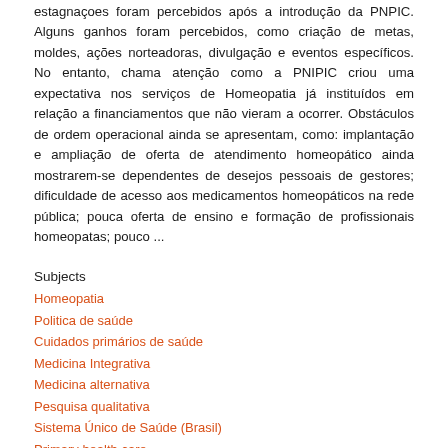estagnaçoes foram percebidos após a introdução da PNPIC. Alguns ganhos foram percebidos, como criação de metas, moldes, ações norteadoras, divulgação e eventos específicos. No entanto, chama atenção como a PNIPIC criou uma expectativa nos serviços de Homeopatia já instituídos em relação a financiamentos que não vieram a ocorrer. Obstáculos de ordem operacional ainda se apresentam, como: implantação e ampliação de oferta de atendimento homeopático ainda mostrarem-se dependentes de desejos pessoais de gestores; dificuldade de acesso aos medicamentos homeopáticos na rede pública; pouca oferta de ensino e formação de profissionais homeopatas; pouco ...
Subjects
Homeopatia
Politica de saúde
Cuidados primários de saúde
Medicina Integrativa
Medicina alternativa
Pesquisa qualitativa
Sistema Único de Saúde (Brasil)
Primary health care
Show full item record